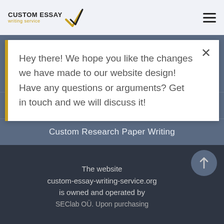[Figure (logo): Custom Essay writing service logo with checkmark and gold/black text]
Hey there! We hope you like the changes we have made to our website design! Have any questions or arguments? Get in touch and we will discuss it!
Custom Coursework Writing
Custom Term Paper Writing
Custom Research Paper Writing
The website custom-essay-writing-service.org is owned and operated by SEClab OÜ. Upon purchasing